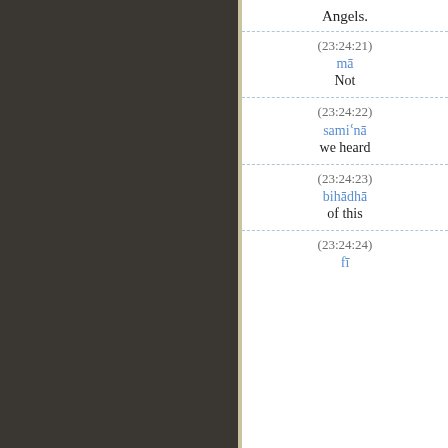Angels.
(23:24:21)
mā
Not
(23:24:22)
samiʿnā
we heard
(23:24:23)
bihādhā
of this
(23:24:24)
fī